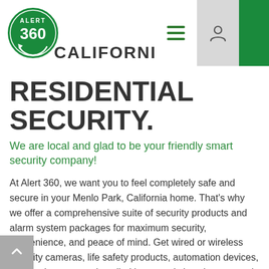[Figure (logo): Alert 360 circular green logo with white text 'ALERT 360' and circular arrow]
CALIFORNIA
RESIDENTIAL SECURITY.
We are local and glad to be your friendly smart security company!
At Alert 360, we want you to feel completely safe and secure in your Menlo Park, California home. That's why we offer a comprehensive suite of security products and alarm system packages for maximum security, convenience, and peace of mind. Get wired or wireless security cameras, life safety products, automation devices, and motion sensors installed in strategic locations around